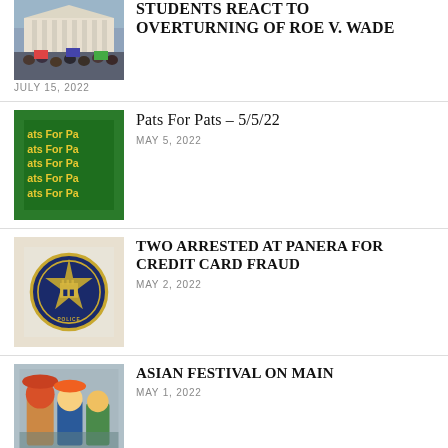[Figure (photo): Crowd protest photo in front of a government building (Supreme Court)]
STUDENTS REACT TO OVERTURNING OF ROE V. WADE
JULY 15, 2022
[Figure (photo): Green banner with yellow text reading 'ats For Pa' repeated multiple times]
Pats For Pats – 5/5/22
MAY 5, 2022
[Figure (photo): Police department badge/seal logo]
TWO ARRESTED AT PANERA FOR CREDIT CARD FRAUD
MAY 2, 2022
[Figure (photo): Festival performers in costume at Asian Festival on Main]
ASIAN FESTIVAL ON MAIN
MAY 1, 2022
[Figure (illustration): Blue donkey and pink elephant political party symbols]
LAST WEEK IN THE NEWS
MAY 1, 2022
FOLLOW US ON SOCIAL MEDIA